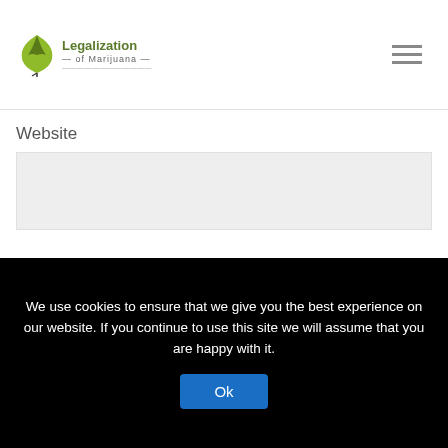Legalization of Marijuana
Website
Save my name, email, and website in this browser for the next time I comment.
Submit Comment
We use cookies to ensure that we give you the best experience on our website. If you continue to use this site we will assume that you are happy with it.
Ok